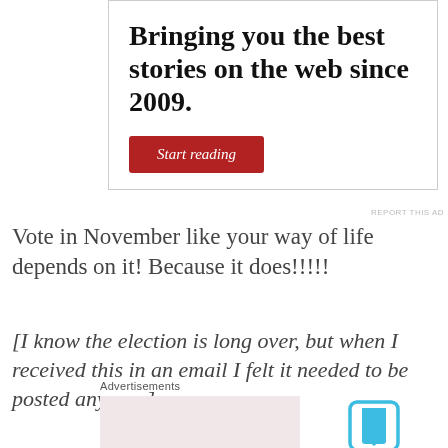[Figure (other): Advertisement box with text 'Bringing you the best stories on the web since 2009.' and a red 'Start reading' button]
REPORT THIS AD
Vote in November like your way of life depends on it! Because it does!!!!!
[I know the election is long over, but when I received this in an email I felt it needed to be posted anyway.]
Advertisements
[Figure (other): Advertisement image placeholder (pink/pale)]
[Figure (other): Bookmark icon (blue, square with bookmark ribbon)]